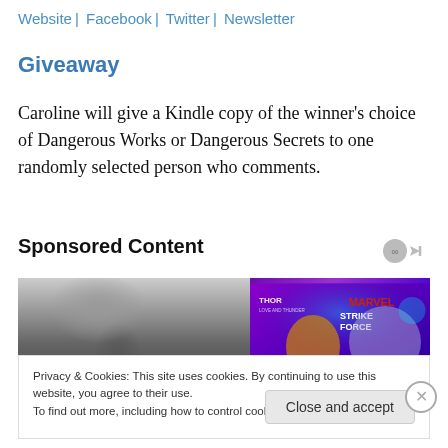Website | Facebook | Twitter | Newsletter
Giveaway
Caroline will give a Kindle copy of the winner's choice of Dangerous Works or Dangerous Secrets to one randomly selected person who comments.
Sponsored Content
[Figure (photo): Two advertisement images side by side: left is a black and white close-up photo of a face, right is a colorful Marvel Strike Force promotional image featuring Thor characters.]
Privacy & Cookies: This site uses cookies. By continuing to use this website, you agree to their use.
To find out more, including how to control cookies, see here: Cookie Policy